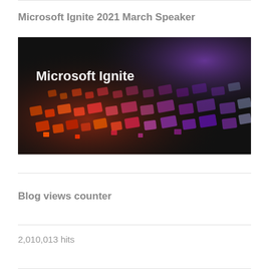Microsoft Ignite 2021 March Speaker
[Figure (photo): Microsoft Ignite branded image showing a glowing keyboard with colorful red, orange, pink, and purple keys on a dark background, with 'Microsoft Ignite' text in white on the left side.]
Blog views counter
2,010,013 hits